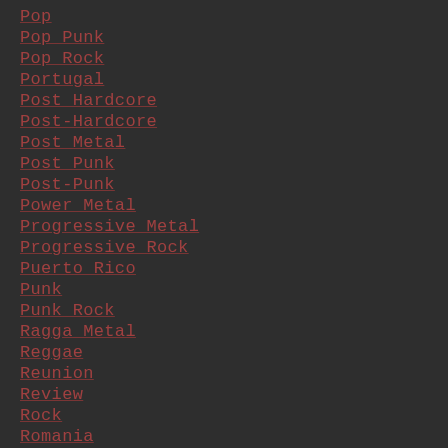Pop
Pop Punk
Pop Rock
Portugal
Post Hardcore
Post-Hardcore
Post Metal
Post Punk
Post-Punk
Power Metal
Progressive Metal
Progressive Rock
Puerto Rico
Punk
Punk Rock
Ragga Metal
Reggae
Reunion
Review
Rock
Romania